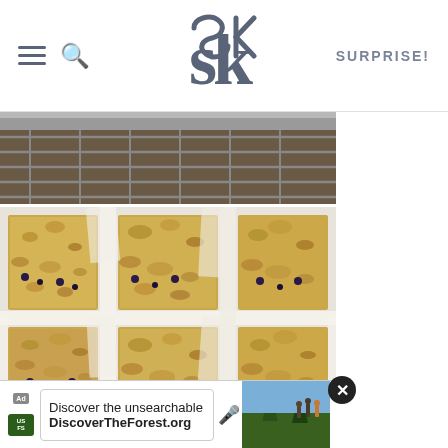SK — SURPRISE!
[Figure (photo): Top partial view of a baking pan on a cooling rack]
[Figure (photo): Overhead view of blueberry crumble bars cut into squares and arranged with parchment paper dividers]
[Figure (photo): Close-up blurred view of blueberry crumble bars]
[Figure (photo): Advertisement banner: Discover the unsearchable — DiscoverTheForest.org, with hikers in forest background]